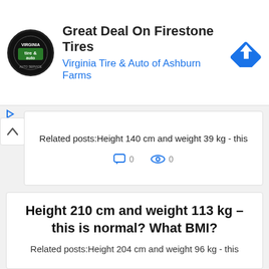[Figure (screenshot): Ad banner for Virginia Tire & Auto of Ashburn Farms showing logo, title 'Great Deal On Firestone Tires', and navigation icon]
Great Deal On Firestone Tires
Virginia Tire & Auto of Ashburn Farms
Related posts:Height 140 cm and weight 39 kg - this
0  0
Height 210 cm and weight 113 kg – this is normal? What BMI?
Related posts:Height 204 cm and weight 96 kg - this